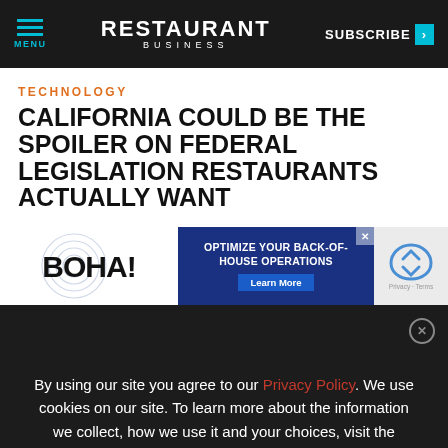MENU | RESTAURANT BUSINESS | SUBSCRIBE >
TECHNOLOGY
CALIFORNIA COULD BE THE SPOILER ON FEDERAL LEGISLATION RESTAURANTS ACTUALLY WANT
[Figure (logo): BOHA! logo with concentric arc circles]
[Figure (infographic): Blue ad banner: OPTIMIZE YOUR BACK-OF-HOUSE OPERATIONS — Learn More]
By using our site you agree to our Privacy Policy. We use cookies on our site. To learn more about the information we collect, how we use it and your choices, visit the cookies section of our Privacy Policy.